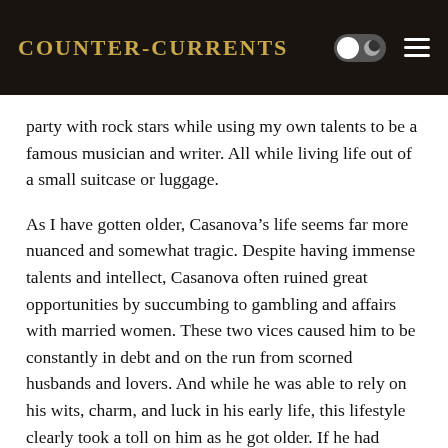Counter-Currents
party with rock stars while using my own talents to be a famous musician and writer. All while living life out of a small suitcase or luggage.
As I have gotten older, Casanova’s life seems far more nuanced and somewhat tragic. Despite having immense talents and intellect, Casanova often ruined great opportunities by succumbing to gambling and affairs with married women. These two vices caused him to be constantly in debt and on the run from scorned husbands and lovers. And while he was able to rely on his wits, charm, and luck in his early life, this lifestyle clearly took a toll on him as he got older. If he had resisted temptation or limited his urges, I think he would have found more stability, success, and happiness in his life.
The drunk woman on the train reminded me of what